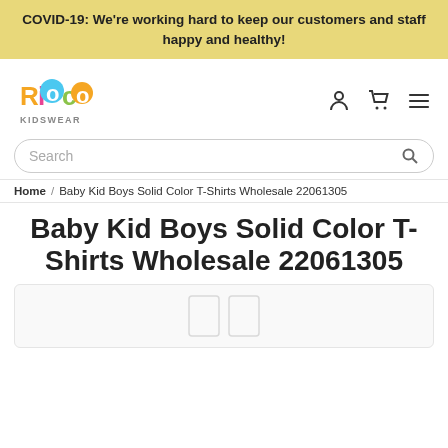COVID-19: We're working hard to keep our customers and staff happy and healthy!
[Figure (logo): Rioco Kidswear colorful logo with stylized letters]
[Figure (illustration): User account icon, shopping cart icon, and hamburger menu icon]
Search
Home / Baby Kid Boys Solid Color T-Shirts Wholesale 22061305
Baby Kid Boys Solid Color T-Shirts Wholesale 22061305
[Figure (photo): Product image area showing t-shirts, partially visible]